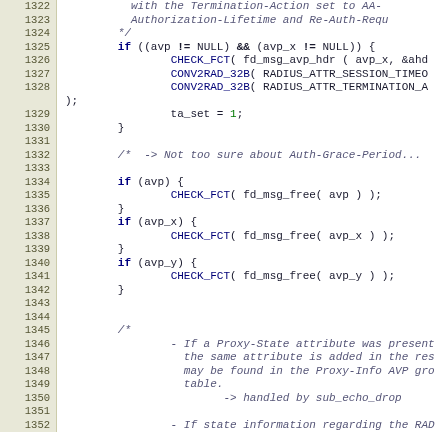[Figure (screenshot): Source code viewer showing C code lines 1322-1352, with line numbers on the left in a beige/tan column, and code on the right. The code includes if-statements, CHECK_FCT calls, CONV2RAD_32B macros, and block comments in italic monospace font.]